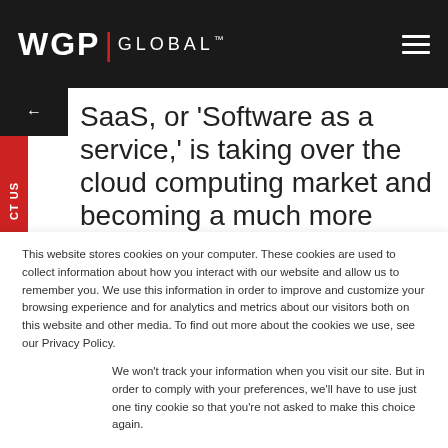WGP GLOBAL
SaaS, or 'Software as a service,' is taking over the cloud computing market and becoming a much more viable choice for many companies. It's cost-effective, simple, user-
This website stores cookies on your computer. These cookies are used to collect information about how you interact with our website and allow us to remember you. We use this information in order to improve and customize your browsing experience and for analytics and metrics about our visitors both on this website and other media. To find out more about the cookies we use, see our Privacy Policy.
We won't track your information when you visit our site. But in order to comply with your preferences, we'll have to use just one tiny cookie so that you're not asked to make this choice again.